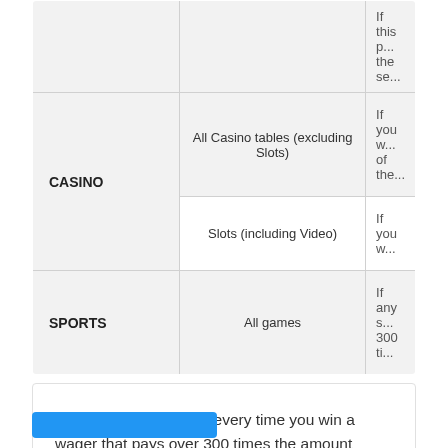| Type | Game | Rule |
| --- | --- | --- |
|  |  | If the p... the se... |
| CASINO | All Casino tables (excluding Slots) | If you w... of the... |
| CASINO | Slots (including Video) | If you w... |
| SPORTS | All games | If any s... 300 ti... |
Also, bear in mind that every time you win a wager that pays over 300 times the amount wagered and the amount of the win is over $5000, a Player Withholding Tax deductions will be necessary. The rate is consistent at 24% and it corresponds only to Federal Taxes.